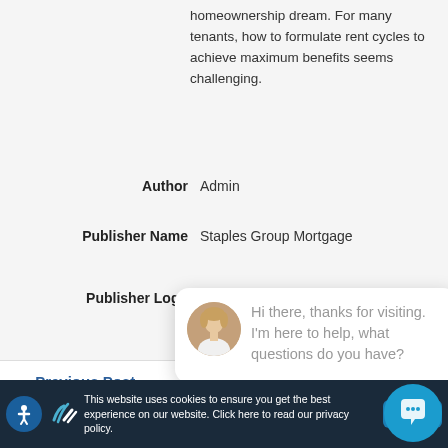homeownership dream. For many tenants, how to formulate rent cycles to achieve maximum benefits seems challenging.
Author   Admin
Publisher Name   Staples Group Mortgage
Publisher Logo
[Figure (logo): Staples Group Mortgage logo with teal/blue lines forming stylized mark]
close
[Figure (screenshot): Chat popup with avatar photo of woman. Text: Hi there, thanks for visiting. I'm here to help, what questions do you have?]
← Previous Post
Next Post
This website uses cookies to ensure you get the best experience on our website. Click here to read our privacy policy.
Got it!